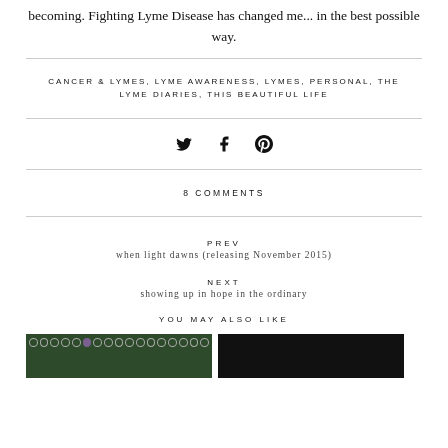becoming. Fighting Lyme Disease has changed me... in the best possible way.
CANCER & LYMES, LYME AWARENESS, LYMES, PERSONAL, THE LYME DIARIES, THIS BEAUTIFUL LIFE
8 COMMENTS
PREV
when light dawns (releasing November 2015)
NEXT
showing up in hope in the ordinary
YOU MAY ALSO LIKE
[Figure (photo): Two thumbnail images side by side: left shows a green image with circles/dots bar at top, right is a dark/black image]